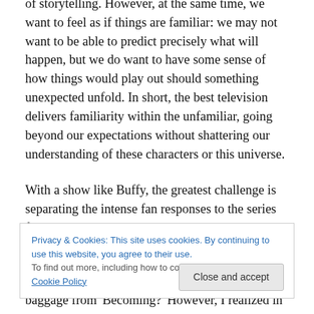of storytelling. However, at the same time, we want to feel as if things are familiar: we may not want to be able to predict precisely what will happen, but we do want to have some sense of how things would play out should something unexpected unfold. In short, the best television delivers familiarity within the unfamiliar, going beyond our expectations without shattering our understanding of these characters or this universe.
With a show like Buffy, the greatest challenge is separating the intense fan responses to the series from the characters themselves. When Angel suddenly returned
Privacy & Cookies: This site uses cookies. By continuing to use this website, you agree to their use. To find out more, including how to control cookies, see here: Cookie Policy
baggage from 'Becoming?' However, I realized in